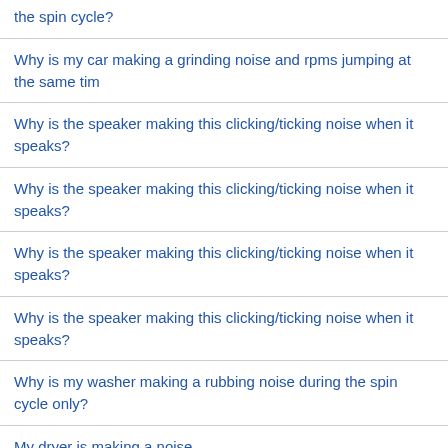the spin cycle?
Why is my car making a grinding noise and rpms jumping at the same tim
Why is the speaker making this clicking/ticking noise when it speaks?
Why is the speaker making this clicking/ticking noise when it speaks?
Why is the speaker making this clicking/ticking noise when it speaks?
Why is the speaker making this clicking/ticking noise when it speaks?
Why is my washer making a rubbing noise during the spin cycle only?
My dryer is making a noise